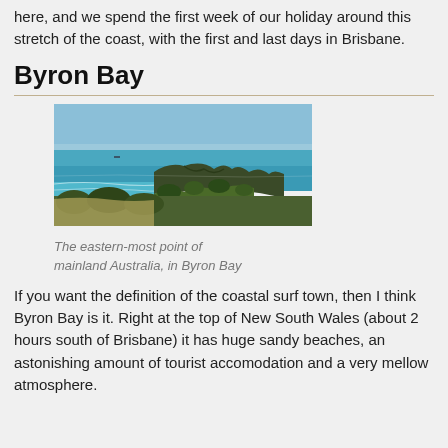here, and we spend the first week of our holiday around this stretch of the coast, with the first and last days in Brisbane.
Byron Bay
[Figure (photo): Coastal view of Byron Bay showing the eastern-most point of mainland Australia, with turquoise ocean, rocky headland, sandy beach and green vegetation in the foreground under a blue sky.]
The eastern-most point of mainland Australia, in Byron Bay
If you want the definition of the coastal surf town, then I think Byron Bay is it. Right at the top of New South Wales (about 2 hours south of Brisbane) it has huge sandy beaches, an astonishing amount of tourist accomodation and a very mellow atmosphere.